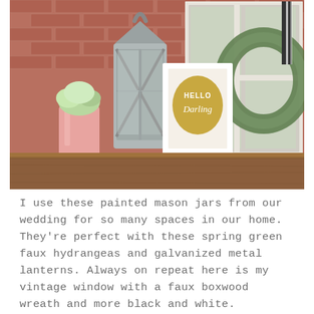[Figure (photo): A styled home decor vignette on a wooden mantel shelf against a brick wall. Items include a pink painted mason jar with faux green hydrangeas, a galvanized metal lantern, a white-framed print with a gold oval reading 'HELLO Darling', a vintage white-painted window frame, and a faux boxwood eucalyptus wreath with a black and white striped ribbon.]
I use these painted mason jars from our wedding for so many spaces in our home. They're perfect with these spring green faux hydrangeas and galvanized metal lanterns. Always on repeat here is my vintage window with a faux boxwood wreath and more black and white.